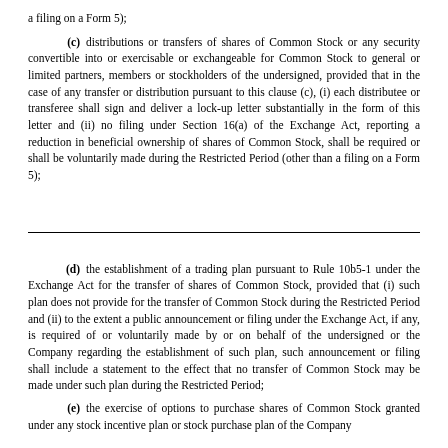a filing on a Form 5);
(c)    distributions or transfers of shares of Common Stock or any security convertible into or exercisable or exchangeable for Common Stock to general or limited partners, members or stockholders of the undersigned, provided that in the case of any transfer or distribution pursuant to this clause (c), (i) each distributee or transferee shall sign and deliver a lock-up letter substantially in the form of this letter and (ii) no filing under Section 16(a) of the Exchange Act, reporting a reduction in beneficial ownership of shares of Common Stock, shall be required or shall be voluntarily made during the Restricted Period (other than a filing on a Form 5);
(d)    the establishment of a trading plan pursuant to Rule 10b5-1 under the Exchange Act for the transfer of shares of Common Stock, provided that (i) such plan does not provide for the transfer of Common Stock during the Restricted Period and (ii) to the extent a public announcement or filing under the Exchange Act, if any, is required of or voluntarily made by or on behalf of the undersigned or the Company regarding the establishment of such plan, such announcement or filing shall include a statement to the effect that no transfer of Common Stock may be made under such plan during the Restricted Period;
(e)    the exercise of options to purchase shares of Common Stock granted under any stock incentive plan or stock purchase plan of the Company